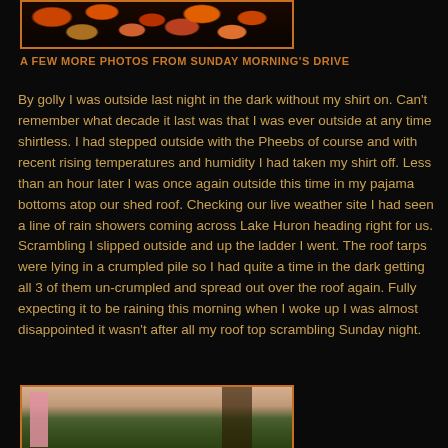[Figure (photo): Top photo showing autumn foliage with orange and red leaves against a dark background, framed with an orange border]
A FEW MORE PHOTOS FROM SUNDAY MORNING'S DRIVE
By golly I was outside last night in the dark without my shirt on.  Can't remember what decade it last was that I was ever outside at any time shirtless.  I had stepped outside with the Pheebs of course and with recent rising temperatures and humidity I had taken my shirt off.  Less than an hour later I was once again outside this time in my pajama bottoms atop our shed roof.  Checking our live weather site I had seen a line of rain showers coming across Lake Huron heading right for us.  Scrambling I slipped outside and up the ladder I went.  The roof tarps were lying in a crumpled pile so I had quite a time in the dark getting all 3 of them un-crumpled and spread out over the roof again.  Fully expecting it to be raining this morning when I woke up I was almost disappointed it wasn't after all my roof top scrambling Sunday night.
[Figure (photo): Bottom photo showing an outdoor scene with a pink/red vertical element on the left and trees with autumn foliage in the background, framed with an orange border]